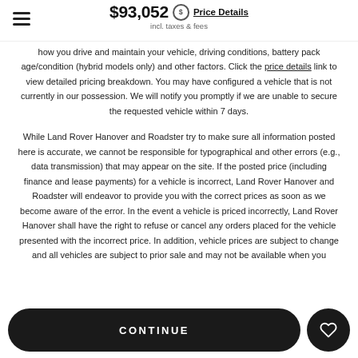$93,052 incl. taxes & fees — Price Details
how you drive and maintain your vehicle, driving conditions, battery pack age/condition (hybrid models only) and other factors. Click the price details link to view detailed pricing breakdown. You may have configured a vehicle that is not currently in our possession. We will notify you promptly if we are unable to secure the requested vehicle within 7 days.
While Land Rover Hanover and Roadster try to make sure all information posted here is accurate, we cannot be responsible for typographical and other errors (e.g., data transmission) that may appear on the site. If the posted price (including finance and lease payments) for a vehicle is incorrect, Land Rover Hanover and Roadster will endeavor to provide you with the correct prices as soon as we become aware of the error. In the event a vehicle is priced incorrectly, Land Rover Hanover shall have the right to refuse or cancel any orders placed for the vehicle presented with the incorrect price. In addition, vehicle prices are subject to change and all vehicles are subject to prior sale and may not be available when you